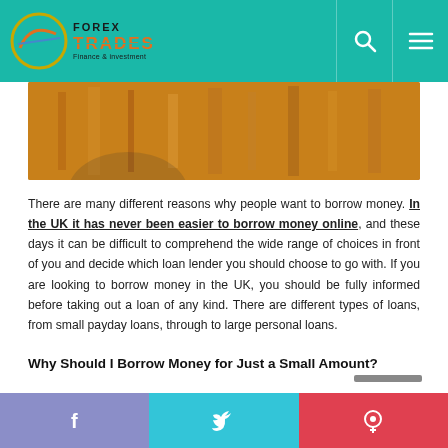[Figure (logo): Forex Trades Finance & Investment logo with teal navigation bar, search icon and hamburger menu]
[Figure (photo): Hero image showing a wooden surface, partially cropped]
There are many different reasons why people want to borrow money. In the UK it has never been easier to borrow money online, and these days it can be difficult to comprehend the wide range of choices in front of you and decide which loan lender you should choose to go with. If you are looking to borrow money in the UK, you should be fully informed before taking out a loan of any kind. There are different types of loans, from small payday loans, through to large personal loans.
Why Should I Borrow Money for Just a Small Amount?
[Figure (other): Social share bar with Facebook, Twitter, and Pinterest buttons]